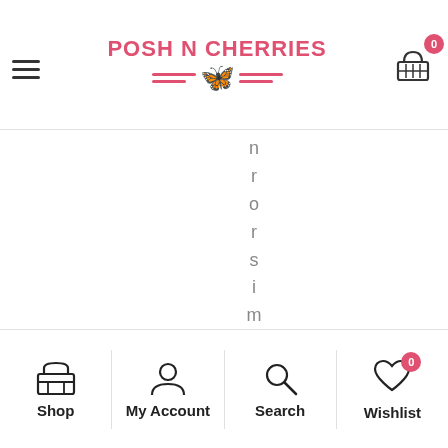[Figure (logo): Posh N Cherries logo with pink text, butterfly icon and decorative lines, plus shopping cart icon with badge showing 0]
or similar proce e
[Figure (infographic): Bottom navigation bar with Shop, My Account, Search, and Wishlist icons. Wishlist has a red badge showing 0.]